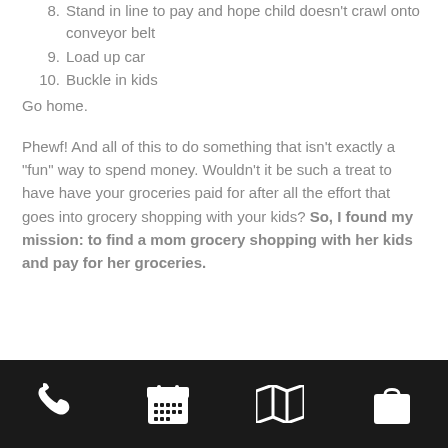8. Stand in line to pay and hope child doesn't crawl onto conveyor belt
9. Load up car
10. Buckle in kids
Go home.
Phewf! And all of this to do something that isn't exactly a "fun" way to spend money. Wouldn't it be such a treat to have have your groceries paid for after all the effort that goes into grocery shopping with your kids? So, I found my mission: to find a mom grocery shopping with her kids and pay for her groceries.
[phone icon] [calendar icon] [map icon] [bag icon]